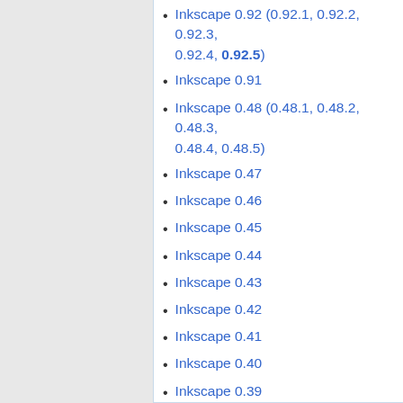Inkscape 0.92 (0.92.1, 0.92.2, 0.92.3, 0.92.4, 0.92.5)
Inkscape 0.91
Inkscape 0.48 (0.48.1, 0.48.2, 0.48.3, 0.48.4, 0.48.5)
Inkscape 0.47
Inkscape 0.46
Inkscape 0.45
Inkscape 0.44
Inkscape 0.43
Inkscape 0.42
Inkscape 0.41
Inkscape 0.40
Inkscape 0.39
Inkscape 0.38
Inkscape 0.37
Inkscape 0.36
Inkscape 0.35